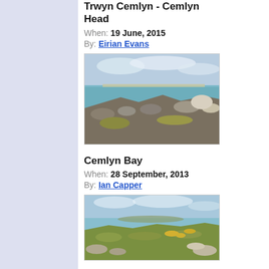Trwyn Cemlyn - Cemlyn Head
When: 19 June, 2015
By: Eirian Evans
[Figure (photo): Coastal landscape with rocky shoreline, turquoise sea, and cloudy sky at Trwyn Cemlyn - Cemlyn Head]
Cemlyn Bay
When: 28 September, 2013
By: Ian Capper
[Figure (photo): Coastal landscape with green grassy headland, rocky outcrops, yellow gorse, and blue sea at Cemlyn Bay]